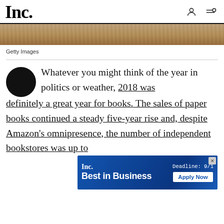Inc.
[Figure (photo): Partial photo strip showing a wooden or textured surface — appears to be a cropped image at the top of the article]
Getty Images
Whatever you might think of the year in politics or weather, 2018 was definitely a great year for books. The sales of paper books continued a steady five-year rise and, despite Amazon's omnipresence, the number of independent bookstores was up to
[Figure (infographic): Inc. Best in Business advertisement banner with 'Deadline: 9/1' and 'Apply Now' button]